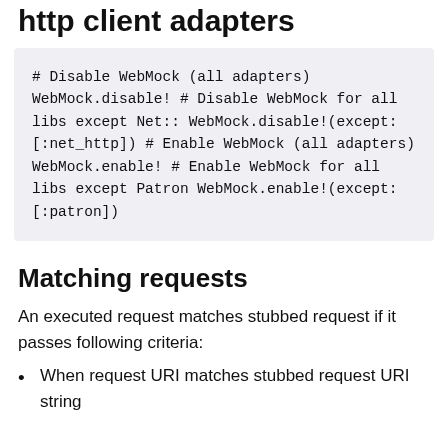http client adapters
# Disable WebMock (all adapters)
WebMock.disable!

# Disable WebMock for all libs except Net::
WebMock.disable!(except: [:net_http])

# Enable WebMock (all adapters)
WebMock.enable!

# Enable WebMock for all libs except Patron
WebMock.enable!(except: [:patron])
Matching requests
An executed request matches stubbed request if it passes following criteria:
When request URI matches stubbed request URI string